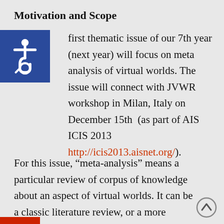Motivation and Scope
first thematic issue of our 7th year (next year) will focus on meta analysis of virtual worlds. The issue will connect with JVWR workshop in Milan, Italy on December 15th (as part of AIS ICIS 2013 http://icis2013.aisnet.org/).
For this issue, “meta-analysis” means a particular review of corpus of knowledge about an aspect of virtual worlds. It can be a classic literature review, or a more formal statistical meta analysis (see